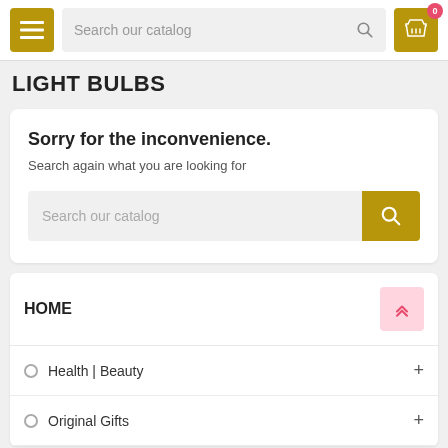Search our catalog
LIGHT BULBS
Sorry for the inconvenience. Search again what you are looking for
Search our catalog
HOME
Health | Beauty
Original Gifts